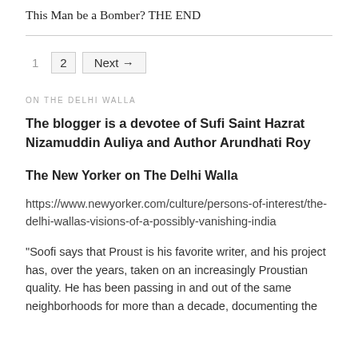This Man be a Bomber? THE END
1  2  Next →
ON THE DELHI WALLA
The blogger is a devotee of Sufi Saint Hazrat Nizamuddin Auliya and Author Arundhati Roy
The New Yorker on The Delhi Walla
https://www.newyorker.com/culture/persons-of-interest/the-delhi-wallas-visions-of-a-possibly-vanishing-india
“Soofi says that Proust is his favorite writer, and his project has, over the years, taken on an increasingly Proustian quality. He has been passing in and out of the same neighborhoods for more than a decade, documenting the